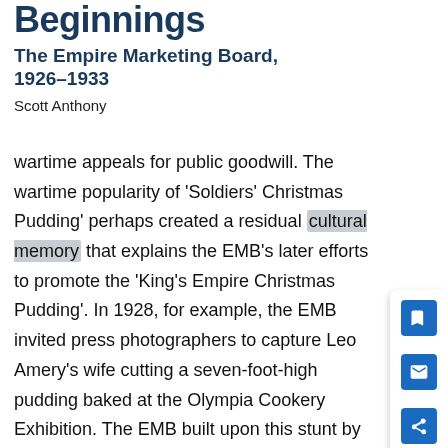Beginnings The Empire Marketing Board, 1926–1933
Scott Anthony
wartime appeals for public goodwill. The wartime popularity of ‘Soldiers’ Christmas Pudding’ perhaps created a residual cultural memory that explains the EMB’s later efforts to promote the ‘King’s Empire Christmas Pudding’. In 1928, for example, the EMB invited press photographers to capture Leo Amery’s wife cutting a seven-foot-high pudding baked at the Olympia Cookery Exhibition. The EMB built upon this stunt by releasing posters, recipes and a